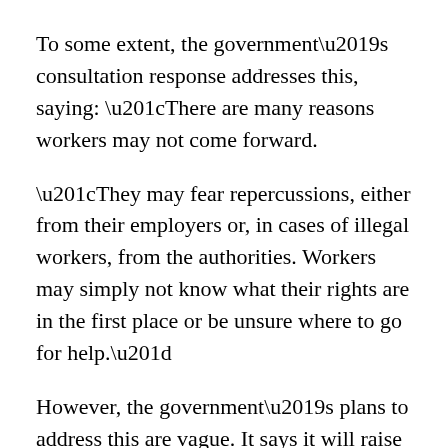To some extent, the government's consultation response addresses this, saying: “There are many reasons workers may not come forward.
“They may fear repercussions, either from their employers or, in cases of illegal workers, from the authorities. Workers may simply not know what their rights are in the first place or be unsure where to go for help.”
However, the government’s plans to address this are vague. It says it will raise awareness of the enforcement body’s existence as well as its role as a guide to workers’ rights, build links with community and worker groups to access harder to reach demographics, and be transparent